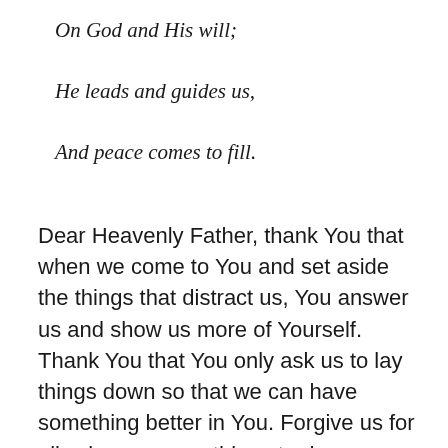On God and His will;
He leads and guides us,
And peace comes to fill.
Dear Heavenly Father, thank You that when we come to You and set aside the things that distract us, You answer us and show us more of Yourself. Thank You that You only ask us to lay things down so that we can have something better in You. Forgive us for allowing so many things to draw our attention away from You. Set our hearts and minds on You so that we live and love according to Your